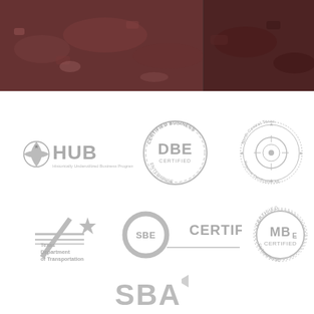[Figure (photo): Dark reddish-brown earth/gravel construction site panoramic photo banner at top of page]
[Figure (logo): HUB - Historically Underutilized Business Program logo (Texas)]
[Figure (logo): DBE Certified - Disadvantaged Business Enterprise certified seal]
[Figure (logo): North Central Texas Regional Certification Agency seal]
[Figure (logo): Texas Department of Transportation logo]
[Figure (logo): SBE Certified - Small Business Enterprise certified logo]
[Figure (logo): MBE Certified - Minority Business Enterprise certified seal]
[Figure (logo): SBA - Small Business Administration logo (partial, bottom of page)]